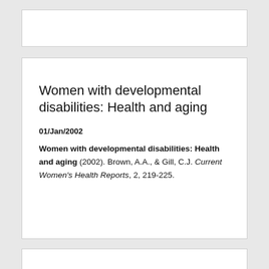Women with developmental disabilities: Health and aging
01/Jan/2002
Women with developmental disabilities: Health and aging (2002). Brown, A.A., & Gill, C.J. Current Women's Health Reports, 2, 219-225.
Physical activity, dietary intake, and the insulin resistance syndrome in non-diabetic adults